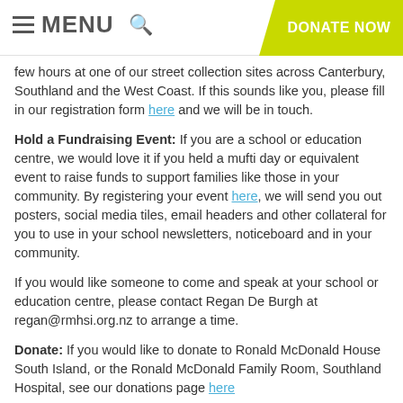MENU  [search]  DONATE NOW
few hours at one of our street collection sites across Canterbury, Southland and the West Coast. If this sounds like you, please fill in our registration form here and we will be in touch.
Hold a Fundraising Event: If you are a school or education centre, we would love it if you held a mufti day or equivalent event to raise funds to support families like those in your community. By registering your event here, we will send you out posters, social media tiles, email headers and other collateral for you to use in your school newsletters, noticeboard and in your community.
If you would like someone to come and speak at your school or education centre, please contact Regan De Burgh at regan@rmhsi.org.nz to arrange a time.
Donate: If you would like to donate to Ronald McDonald House South Island, or the Ronald McDonald Family Room, Southland Hospital, see our donations page here